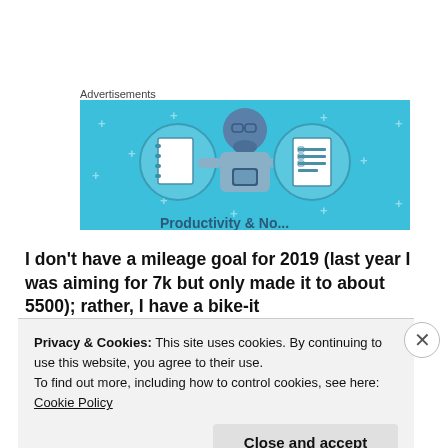Advertisements
[Figure (illustration): Advertisement banner with light blue background showing a cartoon person using a smartphone, flanked by two circular icons: a notebook on the left and a list/document on the right. Small plus signs scattered in the background. Partially cut-off text at the bottom.]
I don't have a mileage goal for 2019 (last year I was aiming for 7k but only made it to about 5500); rather, I have a bike-it
Privacy & Cookies: This site uses cookies. By continuing to use this website, you agree to their use.
To find out more, including how to control cookies, see here: Cookie Policy